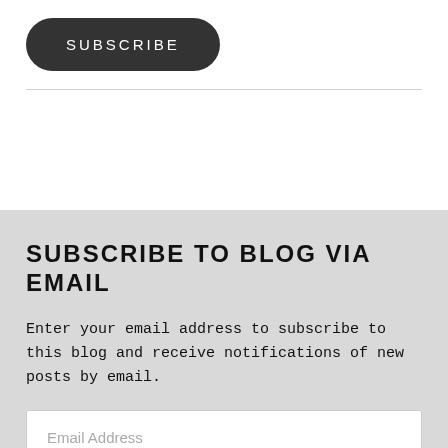SUBSCRIBE
SUBSCRIBE TO BLOG VIA EMAIL
Enter your email address to subscribe to this blog and receive notifications of new posts by email.
Email Address
SUBSCRIBE